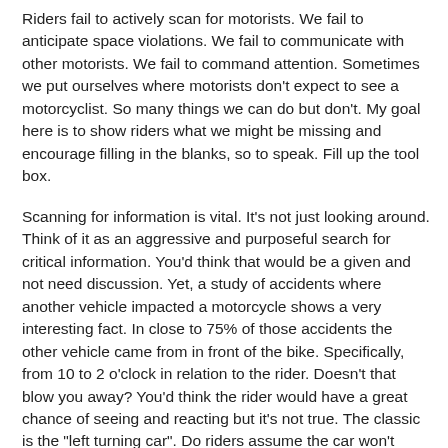Riders fail to actively scan for motorists. We fail to anticipate space violations. We fail to communicate with other motorists. We fail to command attention. Sometimes we put ourselves where motorists don't expect to see a motorcyclist. So many things we can do but don't. My goal here is to show riders what we might be missing and encourage filling in the blanks, so to speak. Fill up the tool box.
Scanning for information is vital. It's not just looking around. Think of it as an aggressive and purposeful search for critical information. You'd think that would be a given and not need discussion. Yet, a study of accidents where another vehicle impacted a motorcycle shows a very interesting fact. In close to 75% of those accidents the other vehicle came from in front of the bike. Specifically, from 10 to 2 o'clock in relation to the rider. Doesn't that blow you away? You'd think the rider would have a great chance of seeing and reacting but it's not true. The classic is the "left turning car". Do riders assume the car won't turn? I think it's because there's a key ingredient missing in the mental recipe of riders. I'll come back to that in a little bit.